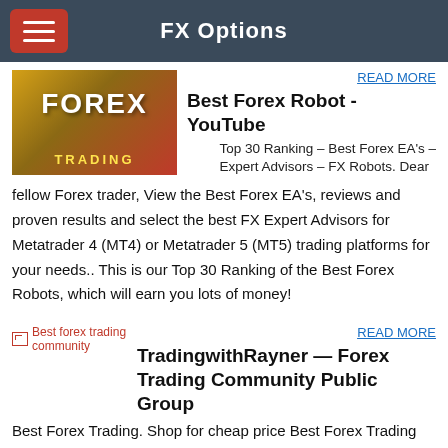FX Options
[Figure (photo): Forex trading image with currency notes and FOREX TRADING text overlay]
READ MORE
Best Forex Robot - YouTube
Top 30 Ranking – Best Forex EA's – Expert Advisors – FX Robots. Dear fellow Forex trader, View the Best Forex EA's, reviews and proven results and select the best FX Expert Advisors for Metatrader 4 (MT4) or Metatrader 5 (MT5) trading platforms for your needs.. This is our Top 30 Ranking of the Best Forex Robots, which will earn you lots of money!
[Figure (photo): Broken image placeholder for Best forex trading community]
READ MORE
TradingwithRayner — Forex Trading Community Public Group
Best Forex Trading. Shop for cheap price Best Forex Trading .Price Low and Options of Best Forex Trading from variety stores in usa. products sale. "Today, if you do not want to disappoint, Check price